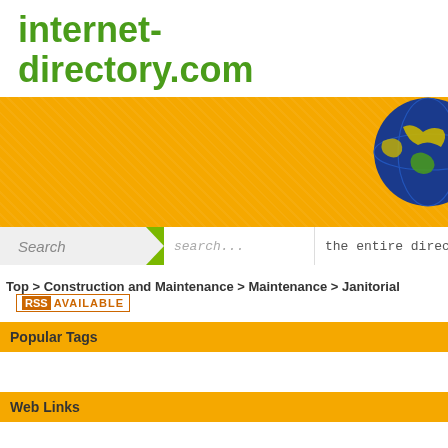internet-directory.com
[Figure (illustration): Orange banner with globe illustration in top-right corner]
Search  search...  the entire directory
Top > Construction and Maintenance > Maintenance > Janitorial  RSS AVAILABLE
Popular Tags
Web Links
1. TME Services Inc.